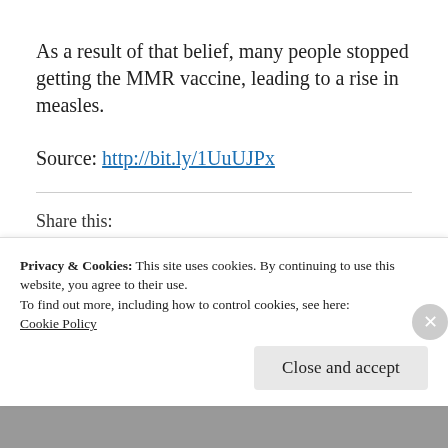As a result of that belief, many people stopped getting the MMR vaccine, leading to a rise in measles.
Source: http://bit.ly/1UuUJPx
Share this:
[Figure (other): Row of social media sharing icon buttons: Facebook (blue), Twitter (blue), WhatsApp (green), Pocket (red), Pinterest (dark red), Tumblr (dark teal), LinkedIn (blue), Email (grey), Print (grey)]
Privacy & Cookies: This site uses cookies. By continuing to use this website, you agree to their use.
To find out more, including how to control cookies, see here: Cookie Policy
Close and accept